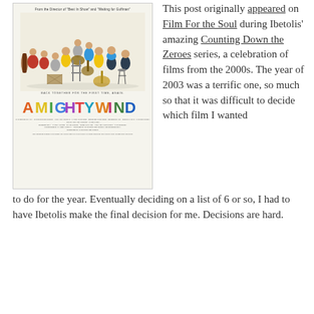[Figure (photo): Movie poster for 'A Mighty Wind' — From the Director of 'Best In Show' and 'Waiting for Guffman'. Shows a group of folk musicians with guitars, double bass, and other instruments. Text at bottom reads 'BACK TOGETHER FOR THE FIRST TIME, AGAIN.' with colorful title 'A MIGHTY WIND' in large block letters followed by small credits text.]
This post originally appeared on Film For the Soul during Ibetolis' amazing Counting Down the Zeroes series, a celebration of films from the 2000s. The year of 2003 was a terrific one, so much so that it was difficult to decide which film I wanted to do for the year. Eventually deciding on a list of 6 or so, I had to have Ibetolis make the final decision for me. Decisions are hard.